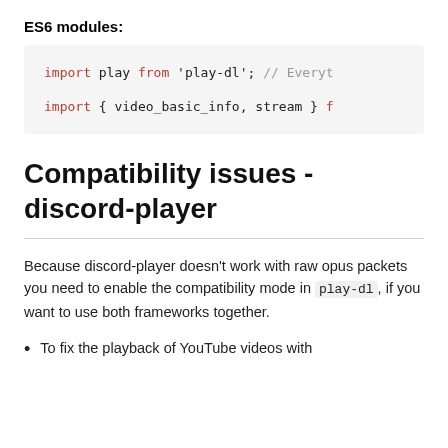ES6 modules:
[Figure (screenshot): Code block showing ES6 module import syntax: 'import play from 'play-dl'; // Everyt' and 'import { video_basic_info, stream } f']
Compatibility issues - discord-player
Because discord-player doesn't work with raw opus packets you need to enable the compatibility mode in play-dl, if you want to use both frameworks together.
To fix the playback of YouTube videos with